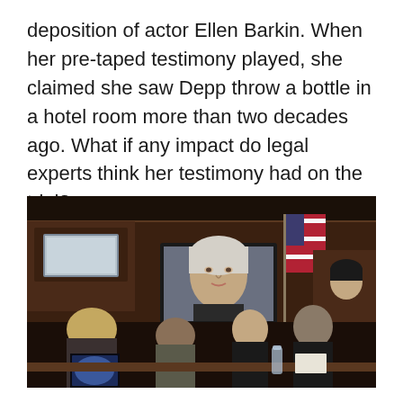deposition of actor Ellen Barkin. When her pre-taped testimony played, she claimed she saw Depp throw a bottle in a hotel room more than two decades ago. What if any impact do legal experts think her testimony had on the trial?
[Figure (photo): Courtroom scene showing people seated and watching a television monitor displaying a woman (Ellen Barkin) giving video deposition testimony. An American flag is visible near the TV, and a judge can be seen in the background at the bench. The courtroom has dark wood paneling.]